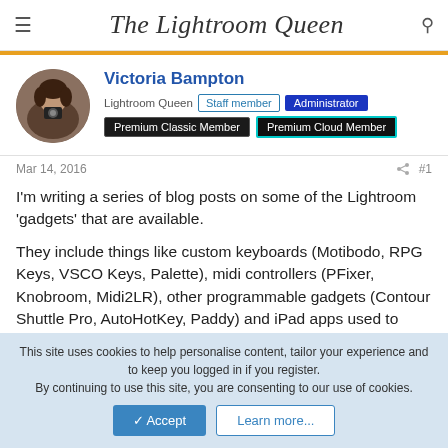The Lightroom Queen
[Figure (photo): Circular avatar photo of Victoria Bampton holding a camera]
Victoria Bampton
Lightroom Queen  Staff member  Administrator
Premium Classic Member  Premium Cloud Member
Mar 14, 2016  #1
I'm writing a series of blog posts on some of the Lightroom 'gadgets' that are available.

They include things like custom keyboards (Motibodo, RPG Keys, VSCO Keys, Palette), midi controllers (PFixer, Knobroom, Midi2LR), other programmable gadgets (Contour Shuttle Pro, AutoHotKey, Paddy) and iPad apps used to control sliders in Lightroom.
This site uses cookies to help personalise content, tailor your experience and to keep you logged in if you register.
By continuing to use this site, you are consenting to our use of cookies.